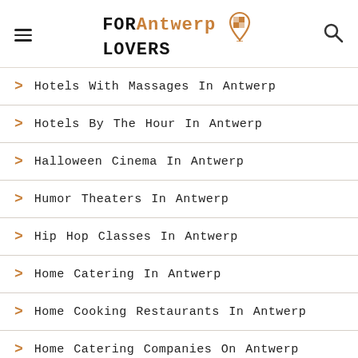FOR Antwerp LOVERS
Hotels With Massages In Antwerp
Hotels By The Hour In Antwerp
Halloween Cinema In Antwerp
Humor Theaters In Antwerp
Hip Hop Classes In Antwerp
Home Catering In Antwerp
Home Cooking Restaurants In Antwerp
Home Catering Companies On Antwerp
Home Delivery Food Offers In Antwerp